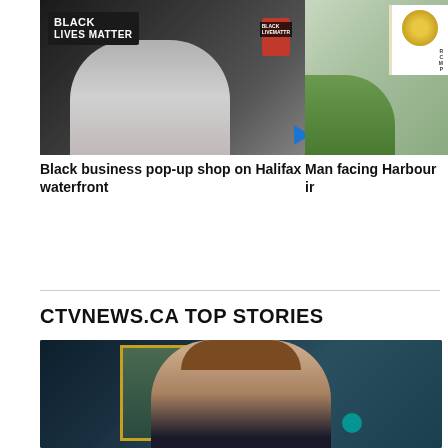[Figure (photo): Black Lives Matter pop-up shop photo showing a person in a grey hoodie with Black Lives Matter signage and a red bag, with a video play button overlay]
Black business pop-up shop on Halifax waterfront
[Figure (photo): Partially visible photo showing an RCMP sign with badge and trees in background]
Man facing Harbour ir
CTVNEWS.CA TOP STORIES
[Figure (photo): Photo of Chrystia Freeland at what appears to be a government hearing or press conference, with teal light in background]